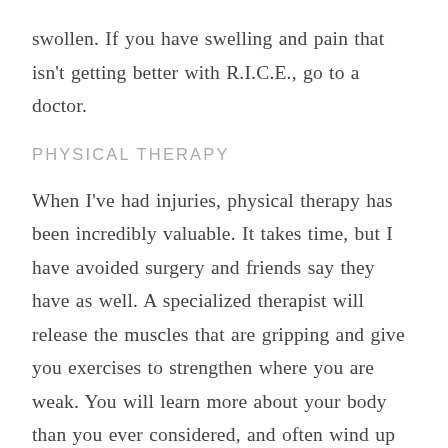swollen. If you have swelling and pain that isn't getting better with R.I.C.E., go to a doctor.
PHYSICAL THERAPY
When I've had injuries, physical therapy has been incredibly valuable. It takes time, but I have avoided surgery and friends say they have as well. A specialized therapist will release the muscles that are gripping and give you exercises to strengthen where you are weak. You will learn more about your body than you ever considered, and often wind up stronger than you were before the injury.